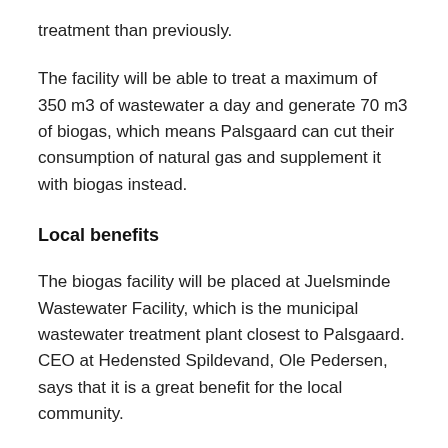treatment than previously.
The facility will be able to treat a maximum of 350 m3 of wastewater a day and generate 70 m3 of biogas, which means Palsgaard can cut their consumption of natural gas and supplement it with biogas instead.
Local benefits
The biogas facility will be placed at Juelsminde Wastewater Facility, which is the municipal wastewater treatment plant closest to Palsgaard. CEO at Hedensted Spildevand, Ole Pedersen, says that it is a great benefit for the local community.
“By establishing a biogas facility with Palsgaard, we free up additional resources that benefit both the local community and the environment. Juelsminde Wastewater Facility is just